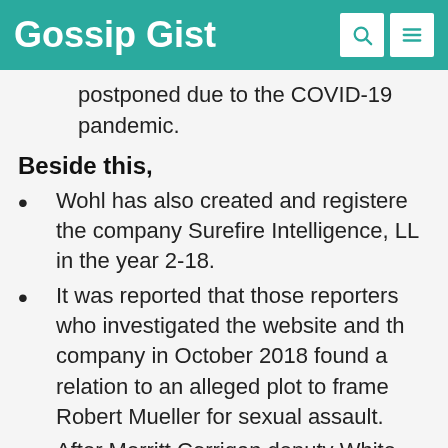Gossip Gist
postponed due to the COVID-19 pandemic.
Beside this,
Wohl has also created and registered the company Surefire Intelligence, LLC in the year 2-18.
It was reported that those reporters who investigated the website and the company in October 2018 found a relation to an alleged plot to frame Robert Mueller for sexual assault.
After Merritt Corrigan deputy White